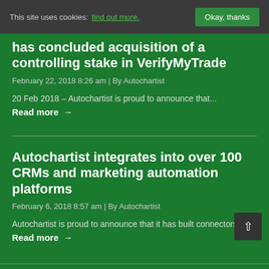This site uses cookies: find out more. Okay, thanks
has concluded acquisition of a controlling stake in VerifyMyTrade
February 22, 2018 8:26 am | By Autochartist
20 Feb 2018 – Autochartist is proud to announce that...
Read more →
Autochartist integrates into over 100 CRMs and marketing automation platforms
February 6, 2018 8:57 am | By Autochartist
Autochartist is proud to announce that it has built connectors...
Read more →